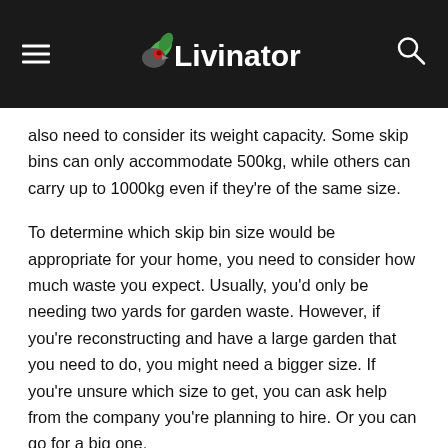Livinator
also need to consider its weight capacity. Some skip bins can only accommodate 500kg, while others can carry up to 1000kg even if they're of the same size.
To determine which skip bin size would be appropriate for your home, you need to consider how much waste you expect. Usually, you'd only be needing two yards for garden waste. However, if you're reconstructing and have a large garden that you need to do, you might need a bigger size. If you're unsure which size to get, you can ask help from the company you're planning to hire. Or you can go for a big one.